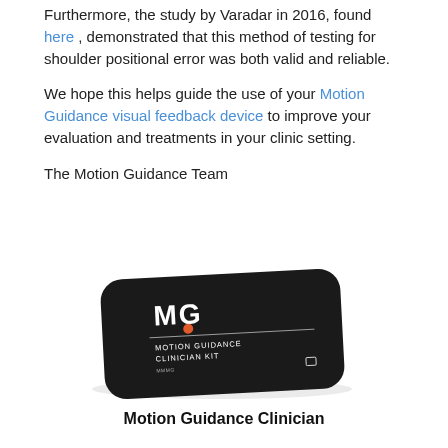Furthermore, the study by Varadar in 2016, found here , demonstrated that this method of testing for shoulder positional error was both valid and reliable.
We hope this helps guide the use of your Motion Guidance visual feedback device to improve your evaluation and treatments in your clinic setting.
The Motion Guidance Team
[Figure (photo): Motion Guidance Clinician Kit product photo showing a black padded case labeled 'MG MOTION GUIDANCE CLINICIAN KIT' with a strap device featuring blue accents and a green LED sensor.]
Motion Guidance Clinician